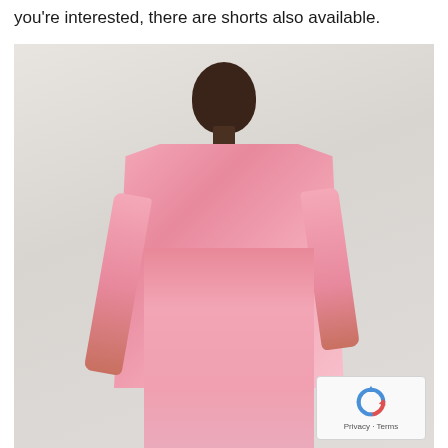you're interested, there are shorts also available.
[Figure (photo): A woman wearing a pink satin blazer and matching wide-leg pink trousers with a white top underneath, standing against a light beige/off-white background. She has short natural hair and is wearing a delicate necklace.]
[Figure (logo): reCAPTCHA logo overlay in bottom right corner with 'Privacy - Terms' text below it]